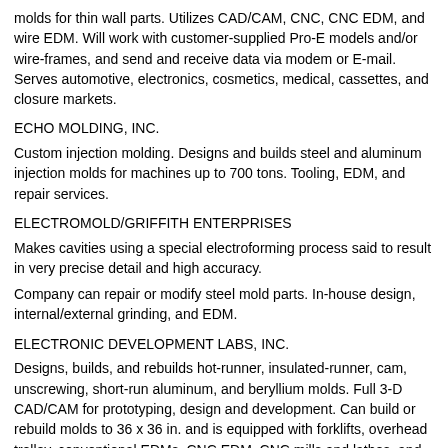molds for thin wall parts. Utilizes CAD/CAM, CNC, CNC EDM, and wire EDM. Will work with customer-supplied Pro-E models and/or wire-frames, and send and receive data via modem or E-mail. Serves automotive, electronics, cosmetics, medical, cassettes, and closure markets.
ECHO MOLDING, INC.
Custom injection molding. Designs and builds steel and aluminum injection molds for machines up to 700 tons. Tooling, EDM, and repair services.
ELECTROMOLD/GRIFFITH ENTERPRISES
Makes cavities using a special electroforming process said to result in very precise detail and high accuracy.
Company can repair or modify steel mold parts. In-house design, internal/external grinding, and EDM.
ELECTRONIC DEVELOPMENT LABS, INC.
Designs, builds, and rebuilds hot-runner, insulated-runner, cam, unscrewing, short-run aluminum, and beryllium molds. Full 3-D CAD/CAM for prototyping, design and development. Can build or rebuild molds to 36 x 36 in. and is equipped with forklifts, overhead trolley, conventional EDMs, CNC EDM, CNC mills and lathes, and grinders. Molding capability to 450 tons.
ENTERPRISE IRELAND
IMC is a consortium of toolmaking companies based in Ireland offering a